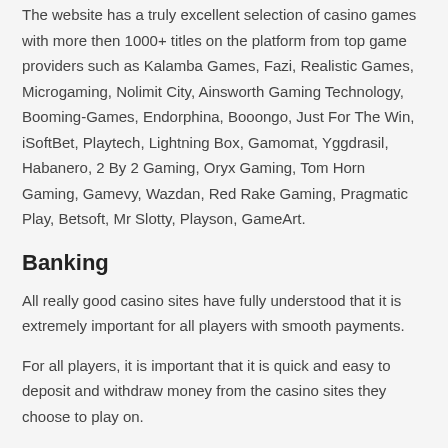The website has a truly excellent selection of casino games with more then 1000+ titles on the platform from top game providers such as Kalamba Games, Fazi, Realistic Games, Microgaming, Nolimit City, Ainsworth Gaming Technology, Booming-Games, Endorphina, Booongo, Just For The Win, iSoftBet, Playtech, Lightning Box, Gamomat, Yggdrasil, Habanero, 2 By 2 Gaming, Oryx Gaming, Tom Horn Gaming, Gamevy, Wazdan, Red Rake Gaming, Pragmatic Play, Betsoft, Mr Slotty, Playson, GameArt.
Banking
All really good casino sites have fully understood that it is extremely important for all players with smooth payments.
For all players, it is important that it is quick and easy to deposit and withdraw money from the casino sites they choose to play on.